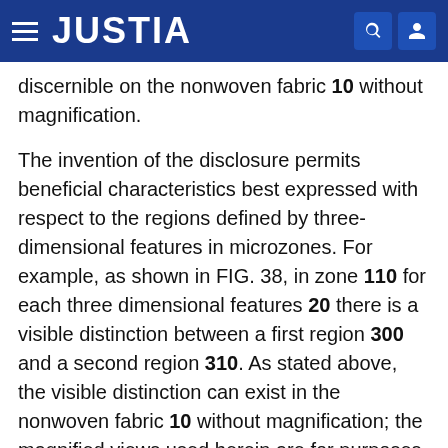JUSTIA
discernible on the nonwoven fabric 10 without magnification.
The invention of the disclosure permits beneficial characteristics best expressed with respect to the regions defined by three-dimensional features in microzones. For example, as shown in FIG. 38, in zone 110 for each three dimensional features 20 there is a visible distinction between a first region 300 and a second region 310. As stated above, the visible distinction can exist in the nonwoven fabric 10 without magnification; the magnified views used herein are for purposes of clear disclosure. Any area that extends across the boundary between enough of first region 300 and second region 310 such that a difference in their respective intensive properties can be ascertained within the area can be a microzone. Additionally, light